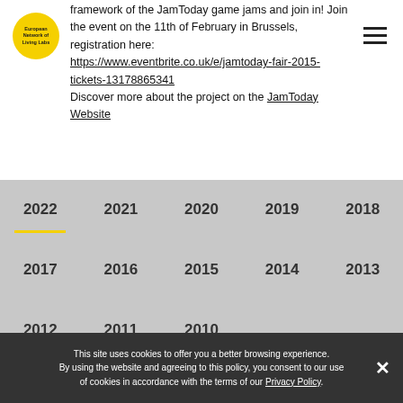European Network of Living Labs
framework of the JamToday game jams and join in! Join the event on the 11th of February in Brussels, registration here: https://www.eventbrite.co.uk/e/jamtoday-fair-2015-tickets-13178865341
Discover more about the project on the JamToday Website
2022
2021
2020
2019
2018
2017
2016
2015
2014
2013
2012
2011
2010
[Figure (photo): WE ARE HIRING! Junior Communications Manager recruitment image with photo of people in a video call]
Vacancy: Junior Communications Manager
We are looking for a candidate Motivated by a career
This site uses cookies to offer you a better browsing experience. By using the website and agreeing to this policy, you consent to our use of cookies in accordance with the terms of our Privacy Policy.